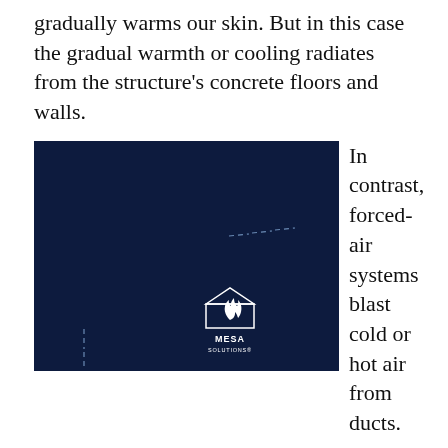gradually warms our skin. But in this case the gradual warmth or cooling radiates from the structure's concrete floors and walls.
[Figure (photo): Dark navy blue image with a white Mesa Solutions logo (flame icon inside a diamond/envelope shape) in the lower right area, and faint dashed lines visible on the background.]
In contrast, forced-air systems blast cold or hot air from ducts.
Blowing air – even if it is hot – can actually make us feel chilly rather than warm. That